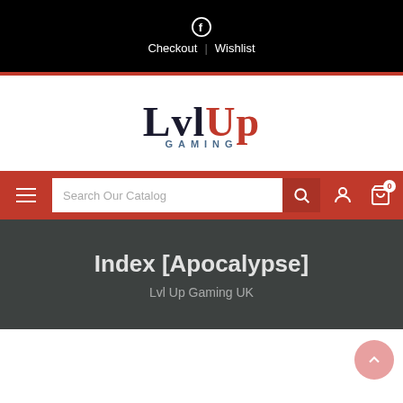Facebook | Checkout | Wishlist
[Figure (logo): LvlUp Gaming logo — LVL in black serif, UP in red serif, GAMING in blue spaced caps below]
[Figure (screenshot): Red navigation bar with hamburger menu, search box reading 'Search Our Catalog', search icon button, user account icon, and shopping cart with 0 badge]
Index [Apocalypse]
Lvl Up Gaming UK
Index [Apocalypse]